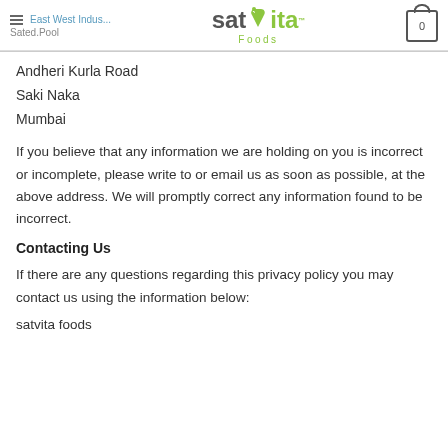East West Indus... | satvita Foods | Sated.Pool | 0
Andheri Kurla Road
Saki Naka
Mumbai
If you believe that any information we are holding on you is incorrect or incomplete, please write to or email us as soon as possible, at the above address. We will promptly correct any information found to be incorrect.
Contacting Us
If there are any questions regarding this privacy policy you may contact us using the information below:
satvita foods